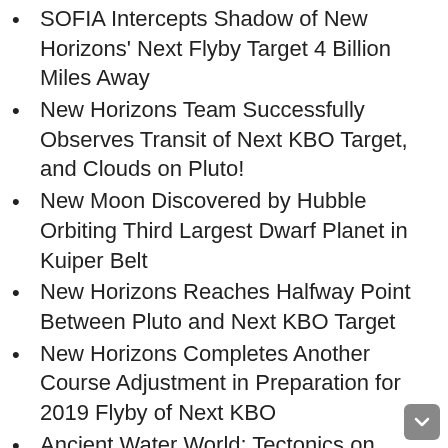SOFIA Intercepts Shadow of New Horizons' Next Flyby Target 4 Billion Miles Away
New Horizons Team Successfully Observes Transit of Next KBO Target, and Clouds on Pluto!
New Moon Discovered by Hubble Orbiting Third Largest Dwarf Planet in Kuiper Belt
New Horizons Reaches Halfway Point Between Pluto and Next KBO Target
New Horizons Completes Another Course Adjustment in Preparation for 2019 Flyby of Next KBO
Ancient Water World: Tectonics on Pluto's Moon Charon Point to Frozen Subsurface Ocean
Leading Planetary Scientists Discuss Prospect of Missions to Uranus and Neptune
'Cracked and Tipped Over' Pluto Has a Subsurface Ocean…